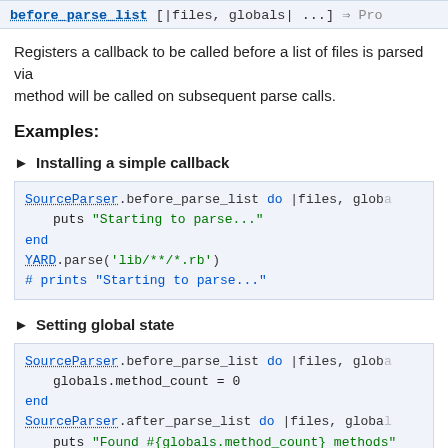before_parse_list [|files, globals| ...]
Registers a callback to be called before a list of files is parsed via... method will be called on subsequent parse calls.
Examples:
► Installing a simple callback
SourceParser.before_parse_list do |files, globa...
  puts "Starting to parse..."
end
YARD.parse('lib/**/*.rb')
# prints "Starting to parse..."
► Setting global state
SourceParser.before_parse_list do |files, globa...
  globals.method_count = 0
end
SourceParser.after_parse_list do |files, global...
  puts "Found #{globals.method_count} methods"
end